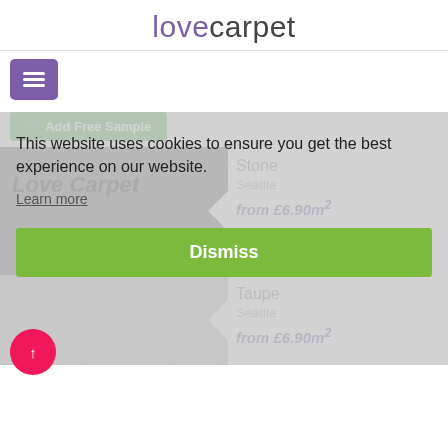lovecarpet
[Figure (screenshot): Purple hamburger menu button (three horizontal white lines on purple background)]
Add Free Sample
[Figure (photo): Carpet texture swatch in stone/dark grey color]
Stone
Seattle
from £6.90m²
This website uses cookies to ensure you get the best experience on our website.
Learn more
Dismiss
Taupe
Seattle
from £6.90m²